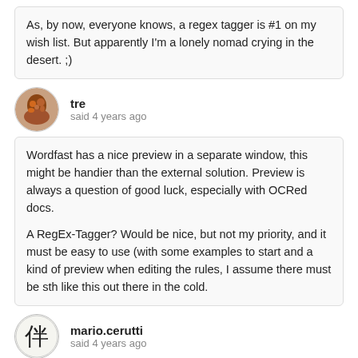As, by now, everyone knows, a regex tagger is #1 on my wish list. But apparently I'm a lonely nomad crying in the desert. ;)
tre
said 4 years ago
Wordfast has a nice preview in a separate window, this might be handier than the external solution. Preview is always a question of good luck, especially with OCRed docs.

A RegEx-Tagger? Would be nice, but not my priority, and it must be easy to use (with some examples to start and a kind of preview when editing the rules, I assume there must be sth like this out there in the cold.
mario.cerutti
said 4 years ago
It also depends on the type of translation. Unfortunately, nowadays we are inundated by sdlxliff and some other proprietary CAT files which we cannot fully control ourselves on the target side as we